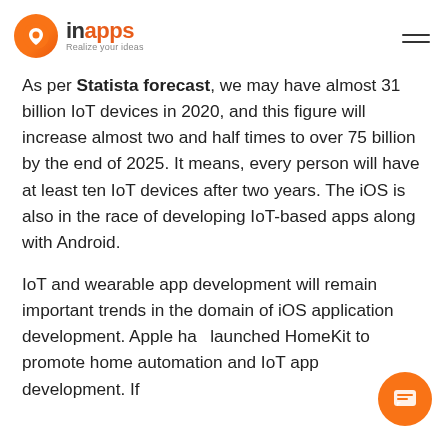[Figure (logo): InApps logo: orange circle with white home/pin icon, brand name 'inapps' in orange and dark, tagline 'Realize your ideas', hamburger menu icon top right]
As per Statista forecast, we may have almost 31 billion IoT devices in 2020, and this figure will increase almost two and half times to over 75 billion by the end of 2025. It means, every person will have at least ten IoT devices after two years. The iOS is also in the race of developing IoT-based apps along with Android.
IoT and wearable app development will remain important trends in the domain of iOS application development. Apple has launched HomeKit to promote home automation and IoT app development. If